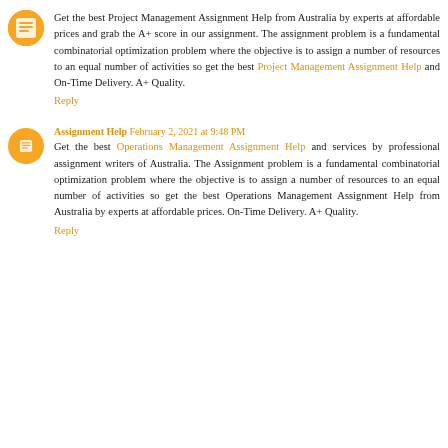Get the best Project Management Assignment Help from Australia by experts at affordable prices and grab the A+ score in our assignment. The assignment problem is a fundamental combinatorial optimization problem where the objective is to assign a number of resources to an equal number of activities so get the best Project Management Assignment Help and On-Time Delivery. A+ Quality.
Reply
Assignment Help February 2, 2021 at 9:48 PM
Get the best Operations Management Assignment Help and services by professional assignment writers of Australia. The Assignment problem is a fundamental combinatorial optimization problem where the objective is to assign a number of resources to an equal number of activities so get the best Operations Management Assignment Help from Australia by experts at affordable prices. On-Time Delivery. A+ Quality.
Reply